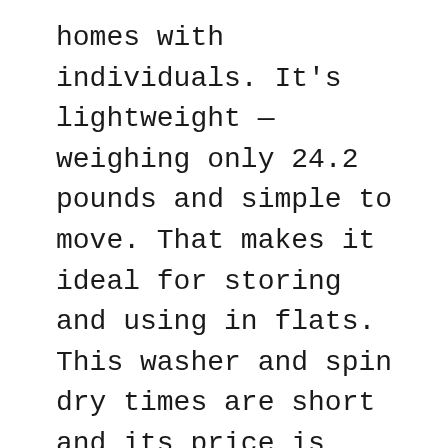homes with individuals. It's lightweight — weighing only 24.2 pounds and simple to move. That makes it ideal for storing and using in flats. This washer and spin dry times are short and its price is even good. Twin tub style will need a lot of effort from you when finishing a load of laundry. But it provides lots of power to wash your clothes and take away a variety of stubborn stains.
The washer will hold up to 7 pounds of laundry, ideal for only one to 2 individuals. It's made from durable plastic, so you don't need to worry